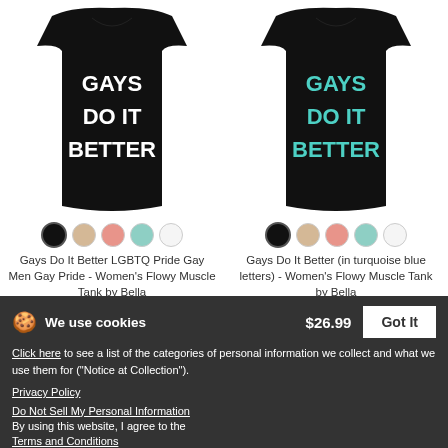[Figure (photo): Black muscle tank top with white text reading GAYS DO IT BETTER]
[Figure (photo): Black muscle tank top with turquoise text reading GAYS DO IT BETTER]
Gays Do It Better LGBTQ Pride Gay Men Gay Pride - Women's Flowy Muscle Tank by Bella
$26.99
Gays Do It Better (in turquoise blue letters) - Women's Flowy Muscle Tank by Bella
$26.99
We use cookies
$26.99
Got It
Click here to see a list of the categories of personal information we collect and what we use them for ("Notice at Collection").
Privacy Policy
Do Not Sell My Personal Information
By using this website, I agree to the Terms and Conditions